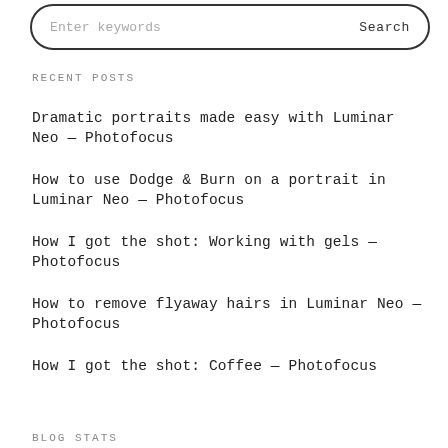RECENT POSTS
Dramatic portraits made easy with Luminar Neo — Photofocus
How to use Dodge & Burn on a portrait in Luminar Neo — Photofocus
How I got the shot: Working with gels — Photofocus
How to remove flyaway hairs in Luminar Neo — Photofocus
How I got the shot: Coffee — Photofocus
BLOG STATS